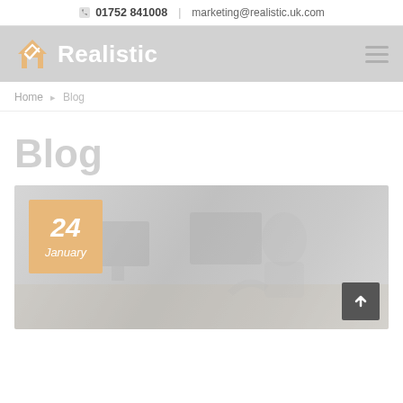01752 841008 | marketing@realistic.uk.com
[Figure (logo): Realistic company logo with house checkmark icon and 'Realistic' wordmark in white on grey background, with hamburger menu icon on right]
Home / Blog
Blog
[Figure (photo): Blog listing page showing a date badge with '24 January' in orange/tan color over a faded photo of people working at computers, with a scroll-to-top arrow button in the bottom right corner]